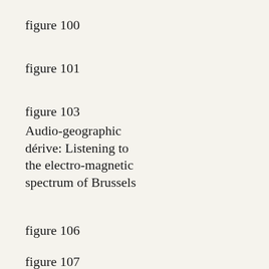figure 100
figure 101
figure 103
Audio-geographic dérive: Listening to the electro-magnetic spectrum of Brussels
figure 106
figure 107